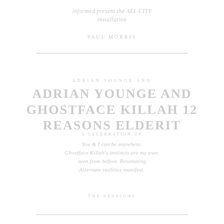informed present the ALL CITY installation
PAUL MORRIS
ADRIAN YOUNCE AND GHOSTFACE KILLAH 12 REASONS ELDERIT
presents
You & I can be anywhere. Ghostface Killah's instincts are my own. Alternate realities manifest.
THE SESSIONS